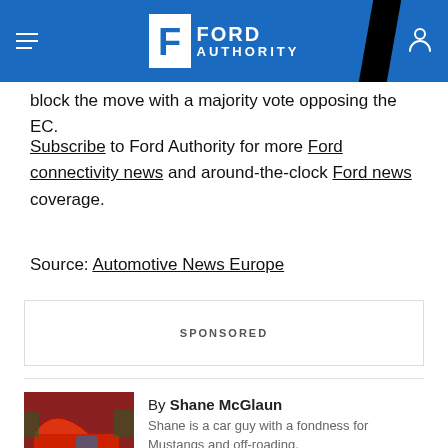Ford Authority
block the move with a majority vote opposing the EC.
Subscribe to Ford Authority for more Ford connectivity news and around-the-clock Ford news coverage.
Source: Automotive News Europe
SPONSORED
By Shane McGlaun
Shane is a car guy with a fondness for Mustangs and off-roading.
Subscribe to Ford